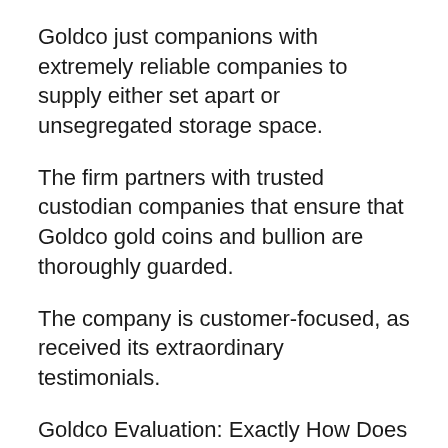Goldco just companions with extremely reliable companies to supply either set apart or unsegregated storage space.
The firm partners with trusted custodian companies that ensure that Goldco gold coins and bullion are thoroughly guarded.
The company is customer-focused, as received its extraordinary testimonials.
Goldco Evaluation: Exactly How Does Goldco Job?
The majority of companies do not offer the choice to invest in precious metal Individual retirement accounts, limiting workers to stocks, bonds, ETFs, and various other paper